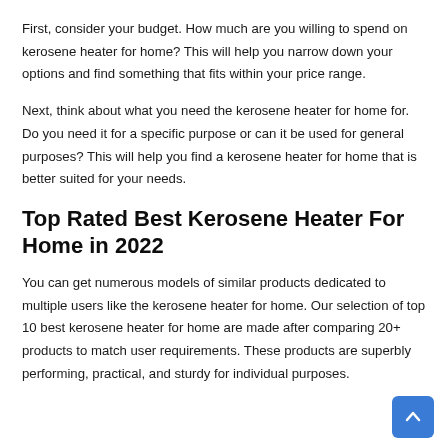First, consider your budget. How much are you willing to spend on kerosene heater for home? This will help you narrow down your options and find something that fits within your price range.
Next, think about what you need the kerosene heater for home for. Do you need it for a specific purpose or can it be used for general purposes? This will help you find a kerosene heater for home that is better suited for your needs.
Top Rated Best Kerosene Heater For Home in 2022
You can get numerous models of similar products dedicated to multiple users like the kerosene heater for home. Our selection of top 10 best kerosene heater for home are made after comparing 20+ products to match user requirements. These products are superbly performing, practical, and sturdy for individual purposes.